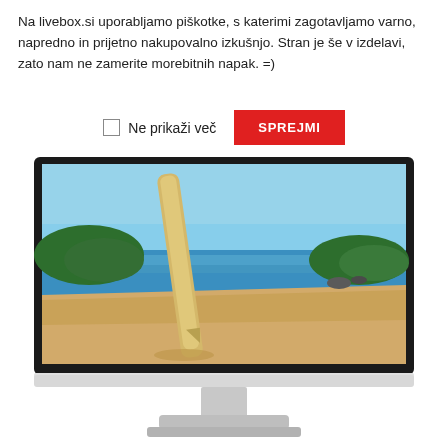Na livebox.si uporabljamo piškotke, s katerimi zagotavljamo varno, napredno in prijetno nakupovalno izkušnjo. Stran je še v izdelavi, zato nam ne zamerite morebitnih napak. =)
Ne prikaži več
SPREJMI
[Figure (photo): HP monitor displaying a beach scene with a surfboard, blue sky, ocean, and sandy beach. The monitor has a slim silver/white bezel and a silver stand.]